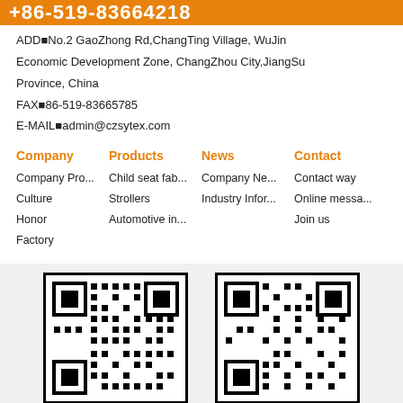+86-519-83664218
ADD■No.2 GaoZhong Rd,ChangTing Village, WuJin Economic Development Zone, ChangZhou City,JiangSu Province, China
FAX■86-519-83665785
E-MAIL■admin@czsytex.com
Company
Products
News
Contact
Company Pro...
Child seat fab...
Company Ne...
Contact way
Culture
Strollers
Industry Infor...
Online messa...
Honor
Automotive in...
Join us
Factory
[Figure (other): Two QR codes side by side on a light gray background]